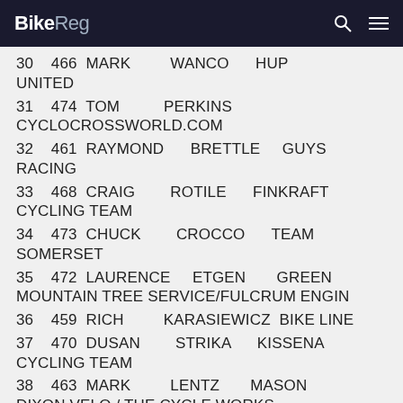BikeReg
30  466  MARK  WANCO  HUP UNITED
31  474  TOM  PERKINS  CYCLOCROSSWORLD.COM
32  461  RAYMOND  BRETTLE  GUYS RACING
33  468  CRAIG  ROTILE  FINKRAFT CYCLING TEAM
34  473  CHUCK  CROCCO  TEAM SOMERSET
35  472  LAURENCE  ETGEN  GREEN MOUNTAIN TREE SERVICE/FULCRUM ENGIN
36  459  RICH  KARASIEWICZ  BIKE LINE
37  470  DUSAN  STRIKA  KISSENA CYCLING TEAM
38  463  MARK  LENTZ  MASON DIXON VELO / THE CYCLE WORKS